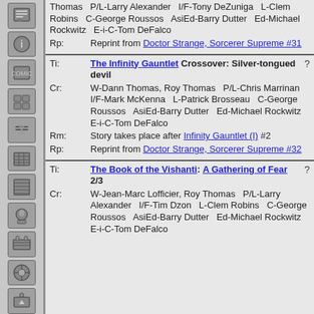| Label | Value |
| --- | --- |
| Rp: | Reprint from Doctor Strange, Sorcerer Supreme #31 |
| Ti: | The Infinity Gauntlet Crossover: Silver-tongued devil  ? |
| Cr: | W-Dann Thomas, Roy Thomas  P/L-Chris Marrinan  I/F-Mark McKenna  L-Patrick Brosseau  C-George Roussos  AsiEd-Barry Dutter  Ed-Michael Rockwitz  E-i-C-Tom DeFalco |
| Rm: | Story takes place after Infinity Gauntlet (I) #2 |
| Rp: | Reprint from Doctor Strange, Sorcerer Supreme #32 |
| Ti: | The Book of the Vishanti: A Gathering of Fear 2/3  ? |
| Cr: | W-Jean-Marc Lofficier, Roy Thomas  P/L-Larry Alexander  I/F-Tim Dzon  L-Clem Robins  C-George Roussos  AsiEd-Barry Dutter  Ed-Michael Rockwitz  E-i-C-Tom DeFalco |